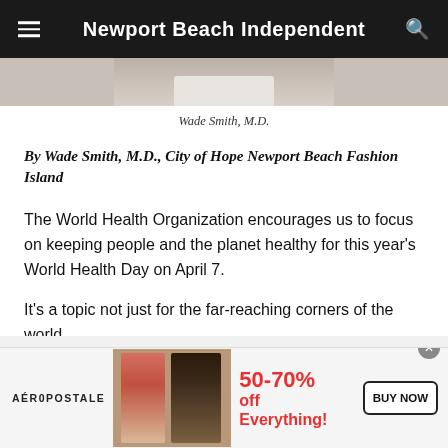Newport Beach Independent
[Figure (photo): Partial photo of Wade Smith, M.D., showing lower portion of torso in white coat]
Wade Smith, M.D.
By Wade Smith, M.D., City of Hope Newport Beach Fashion Island
The World Health Organization encourages us to focus on keeping people and the planet healthy for this year's World Health Day on April 7.
It's a topic not just for the far-reaching corners of the world
[Figure (infographic): Aéropostale advertisement banner showing '50-70% off Everything!' with BUY NOW button and two models]